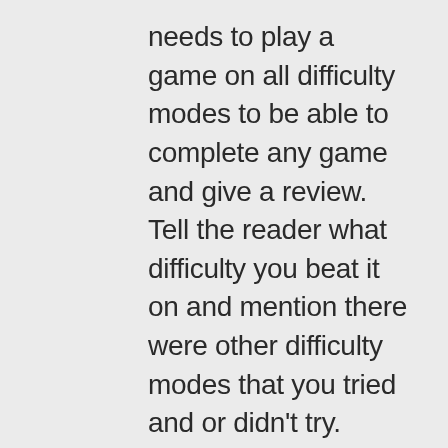needs to play a game on all difficulty modes to be able to complete any game and give a review. Tell the reader what difficulty you beat it on and mention there were other difficulty modes that you tried and or didn't try.
I think one should try to experience all the game has to offer — with some exceptions. You've listed some of those exceptions in your comment. In cases where these exceptions